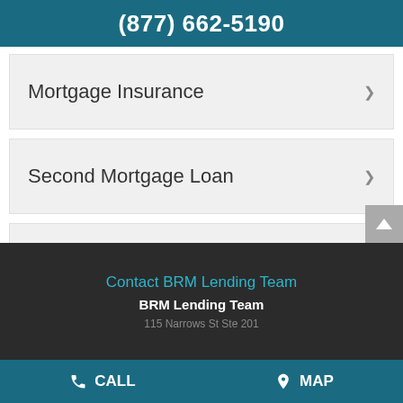(877) 662-5190
Mortgage Insurance
Second Mortgage Loan
Refinance Mortgage
Contact BRM Lending Team
BRM Lending Team
CALL   MAP